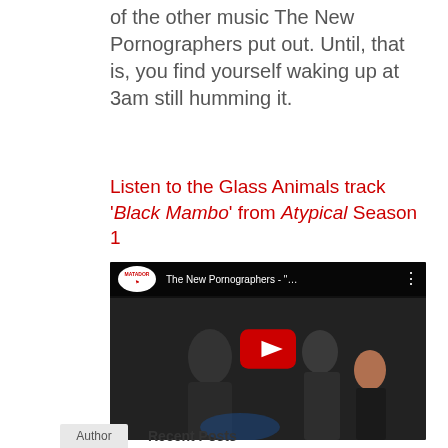of the other music The New Pornographers put out. Until, that is, you find yourself waking up at 3am still humming it.
Listen to the Glass Animals track 'Black Mambo' from Atypical Season 1
[Figure (screenshot): YouTube video embed showing The New Pornographers music video with play button, dark background with people standing, Matador Records logo in top left, title 'The New Pornographers - "...' in top bar with three-dot menu]
Author   Recent Posts